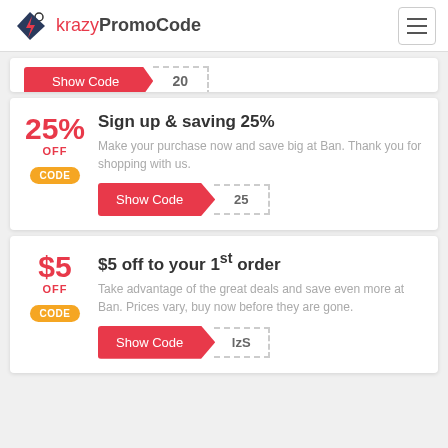krazyPromoCode
[Figure (screenshot): Partially visible coupon card with Show Code button and '20' code reveal]
Sign up & saving 25%
Make your purchase now and save big at Ban. Thank you for shopping with us.
Show Code | 25
$5 off to your 1st order
Take advantage of the great deals and save even more at Ban. Prices vary, buy now before they are gone.
Show Code | lzS